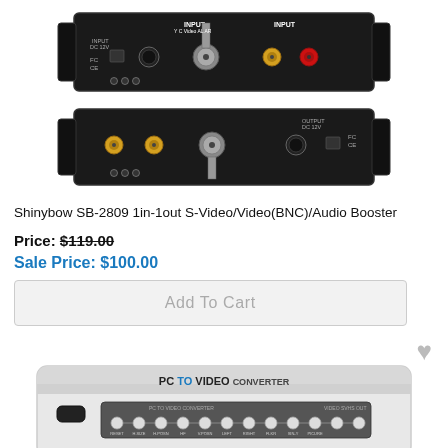[Figure (photo): Photo of Shinybow SB-2809 audio/video booster device showing input/output ports including S-Video, BNC, and RCA connectors on black metal chassis]
Shinybow SB-2809 1in-1out S-Video/Video(BNC)/Audio Booster
Price: $119.00
Sale Price: $100.00
Add To Cart
[Figure (photo): Photo of a white PC TO VIDEO CONVERTER device with multiple control buttons on its front panel]